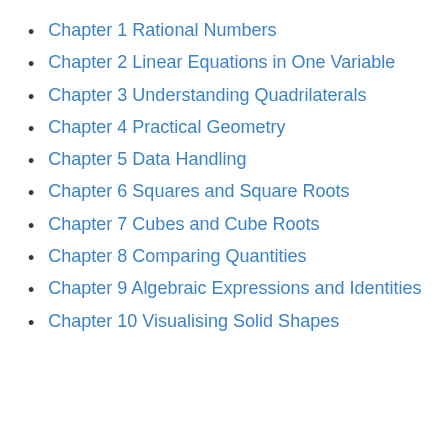Chapter 1 Rational Numbers
Chapter 2 Linear Equations in One Variable
Chapter 3 Understanding Quadrilaterals
Chapter 4 Practical Geometry
Chapter 5 Data Handling
Chapter 6 Squares and Square Roots
Chapter 7 Cubes and Cube Roots
Chapter 8 Comparing Quantities
Chapter 9 Algebraic Expressions and Identities
Chapter 10 Visualising Solid Shapes